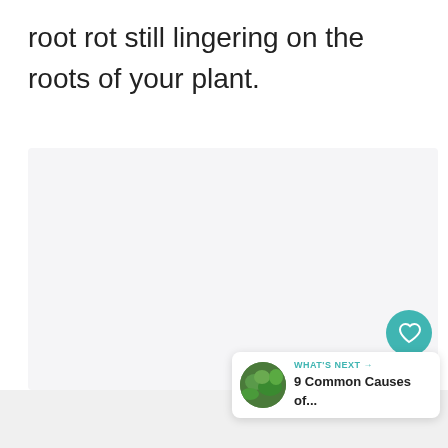root rot still lingering on the roots of your plant.
[Figure (photo): Large light gray placeholder image area for a plant-related photo]
[Figure (illustration): Heart/like button (teal circle with heart icon), like count 219, share button]
219
[Figure (screenshot): What's Next card showing thumbnail of green plant leaves with text '9 Common Causes of...']